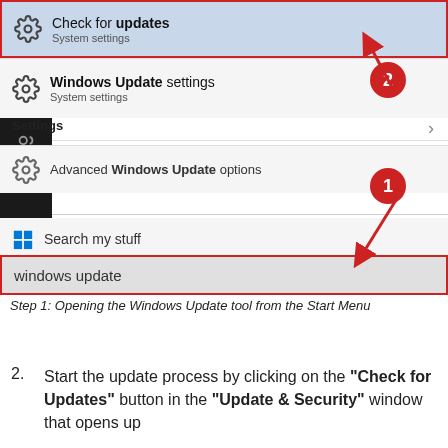[Figure (screenshot): Windows 10 Start Menu search showing 'windows update' typed in search bar, with results including 'Check for updates', 'Windows Update settings', and 'Advanced Windows Update options'. Red numbered callout circles and arrows indicate step 1 (search bar) and step 2 (Windows Update settings result). The top result and search bar are highlighted with red borders.]
Step 1: Opening the Windows Update tool from the Start Menu
Start the update process by clicking on the "Check for Updates" button in the "Update & Security" window that opens up